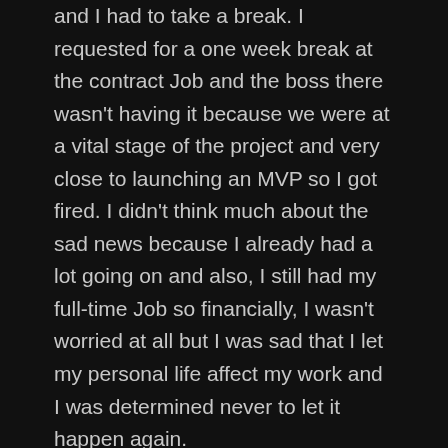and I had to take a break. I requested for a one week break at the contract Job and the boss there wasn't having it because we were at a vital stage of the project and very close to launching an MVP so I got fired. I didn't think much about the sad news because I already had a lot going on and also, I still had my full-time Job so financially, I wasn't worried at all but I was sad that I let my personal life affect my work and I was determined never to let it happen again.
While I was thinking of what to do next and how to recover very quickly, I got a mail from a startup in London a day after I got fired. They wanted me to Join them to build an interesting product. I accepted the offer and I was back to sleepless nights and long screen